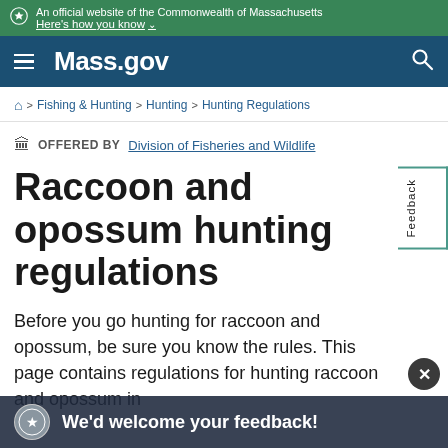An official website of the Commonwealth of Massachusetts Here's how you know
Mass.gov
⌂ > Fishing & Hunting > Hunting > Hunting Regulations
OFFERED BY Division of Fisheries and Wildlife
Raccoon and opossum hunting regulations
Before you go hunting for raccoon and opossum, be sure you know the rules. This page contains regulations for hunting raccoon and opossum in Massachusetts.
We'd welcome your feedback!